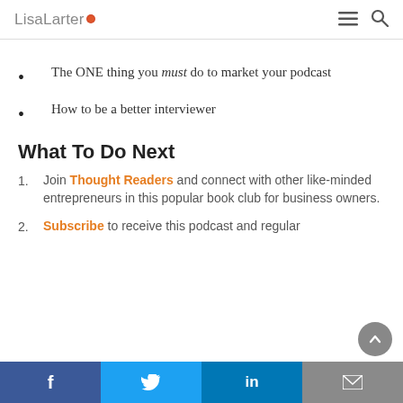LisaLarter
The ONE thing you must do to market your podcast
How to be a better interviewer
What To Do Next
Join Thought Readers and connect with other like-minded entrepreneurs in this popular book club for business owners.
Subscribe to receive this podcast and regular
f  Twitter  in  email